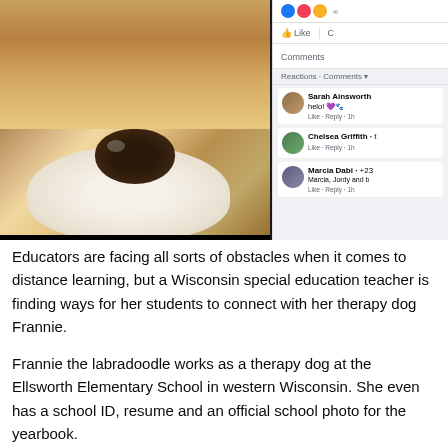[Figure (screenshot): Screenshot of a Facebook post showing a close-up photo of a dog (labradoodle named Frannie) with its nose close to the camera, alongside Facebook comments from Sarah Ainsworth, Chelsea Griffith, and Marcia Dabi with Like/Reply/1h actions]
Educators are facing all sorts of obstacles when it comes to distance learning, but a Wisconsin special education teacher is finding ways for her students to connect with her therapy dog Frannie.
Frannie the labradoodle works as a therapy dog at the Ellsworth Elementary School in western Wisconsin. She even has a school ID, resume and an official school photo for the yearbook.
"Frannie started coming to school with me every day and she quickly became a mascot of our school," said Katie Deiss, a